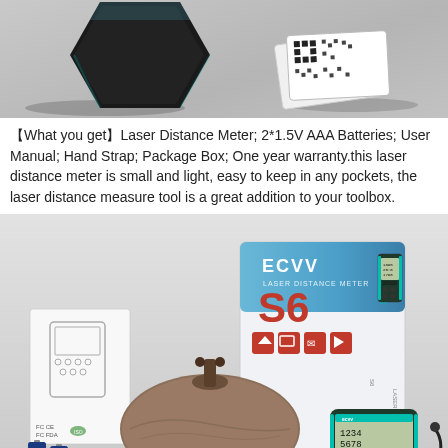[Figure (photo): Product photo showing a dark hexagonal smart device on the left and a deck of playing cards on the right, against a light gray background.]
【What you get】Laser Distance Meter; 2*1.5V AAA Batteries; User Manual; Hand Strap; Package Box; One year warranty.this laser distance meter is small and light, easy to keep in any pockets, the laser distance measure tool is a great addition to your toolbox.
[Figure (photo): Product unboxing photo showing ECVV S6 Laser Distance Meter package box, the device itself, a user manual, a brown drawstring pouch, AAA batteries, and accessories on a gray background.]